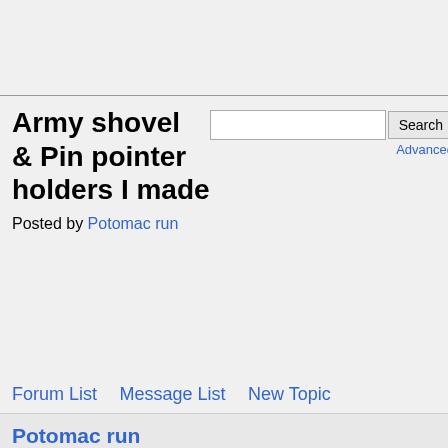Army shovel & Pin pointer holders I made
Posted by Potomac run
Forum List   Message List   New Topic
Potomac run
Army shovel & Pin pointer holders I made
December 12, 2016 02:04AM
Registered: 6 years ago
Posts: 231